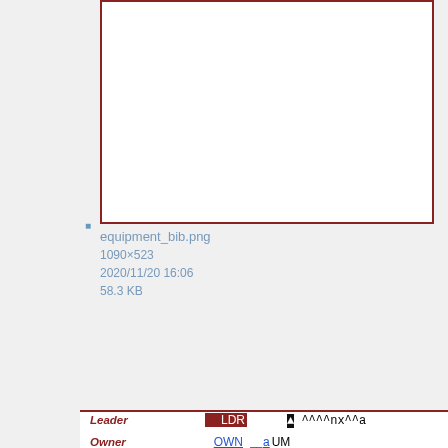[Figure (screenshot): Partially visible screenshot of database record with red border]
equipment_bib.png
1090×523
2020/11/20 16:06
58.3 KB
| Field | Tag | Ind1 | Ind2 | Subfield | Value |
| --- | --- | --- | --- | --- | --- |
| Leader | LDR |  |  | ^ | ^^^^nx^^a |
| Owner | OWN |  | a |  | UM |
| Bib. Control N. | 004 |  |  |  | 010676980 |
| Fixed Data | 008 |  |  |  | 2011202p^^^ |
| Link | LKR |  | a |  | HOL |
|  |  |  | l |  | FCL01 |
|  |  |  | b |  | 010676980 |
| Location | 852 | 8 | b |  | UMMDA |
|  |  |  | c |  | UAVE |
|  |  |  | h |  | LC 9-PIN FIREW |